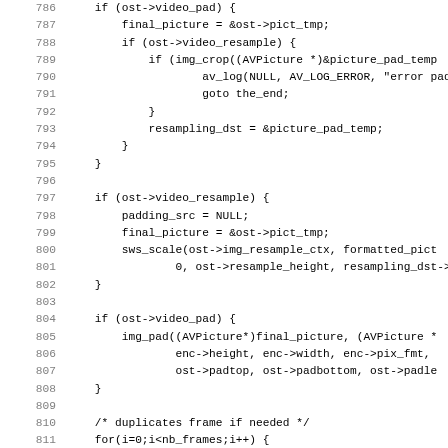[Figure (screenshot): Source code listing showing C code lines 786-818 with line numbers in gray and code in monospace font. The code handles video resampling, padding, frame duplication, and raw picture output logic.]